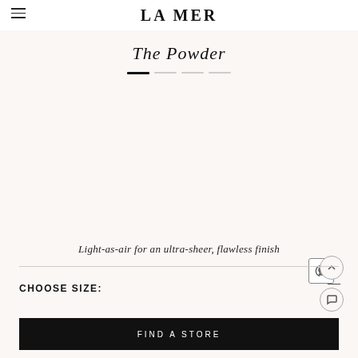LA MER
The Powder
[Figure (other): Carousel indicator dots: one active (dark) and three inactive (light gray)]
[Figure (other): Product image area showing La Mer The Powder product on a light beige/cream background]
Light-as-air for an ultra-sheer, flawless finish
CHOOSE SIZE:
FIND A STORE